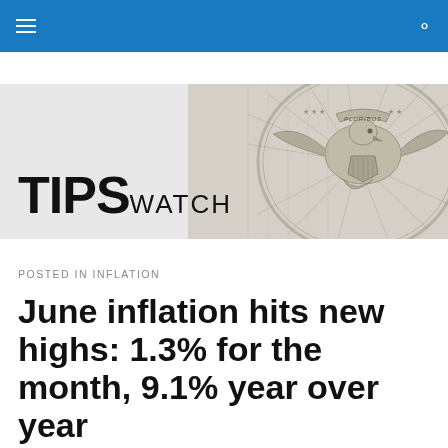TIPSwatch navigation bar
[Figure (logo): TIPSwatch logo on gray background with US currency engraving (eagle/seal) on right side]
POSTED IN INFLATION
June inflation hits new highs: 1.3% for the month, 9.1% year over year
Annual inflation is now running at the hottest pace since 1981.